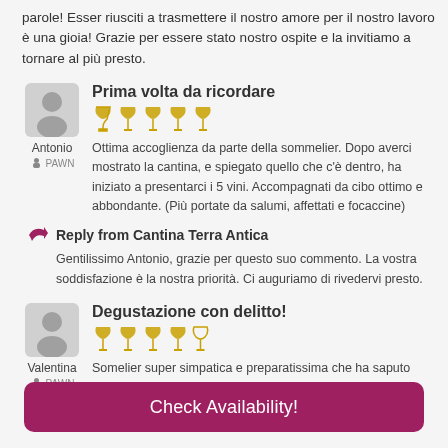parole! Esser riusciti a trasmettere il nostro amore per il nostro lavoro è una gioia! Grazie per essere stato nostro ospite e la invitiamo a tornare al più presto.
Prima volta da ricordare
Ottima accoglienza da parte della sommelier. Dopo averci mostrato la cantina, e spiegato quello che c'è dentro, ha iniziato a presentarci i 5 vini. Accompagnati da cibo ottimo e abbondante. (Più portate da salumi, affettati e focaccine)
Reply from Cantina Terra Antica
Gentilissimo Antonio, grazie per questo suo commento. La vostra soddisfazione è la nostra priorità. Ci auguriamo di rivedervi presto.
Degustazione con delitto!
Somelier super simpatica e preparatissima che ha saputo coinvolgere me e la mia amica alla nostra prima
Check Availability!